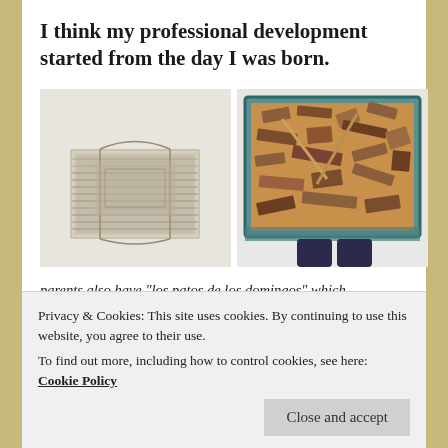I think my professional development started from the day I was born.
[Figure (photo): An old worn book or journal with a ribbed spine, tied with string, photographed against a light grey background]
[Figure (photo): A wooden box with teal/blue painted edges, filled with many small wooden pieces or blocks, viewed from above with feet in dark socks visible at the bottom]
I grew up in a family of readers where all the
Privacy & Cookies: This site uses cookies. By continuing to use this website, you agree to their use.
To find out more, including how to control cookies, see here: Cookie Policy
Close and accept
parents also have "los patos de los domingos" which